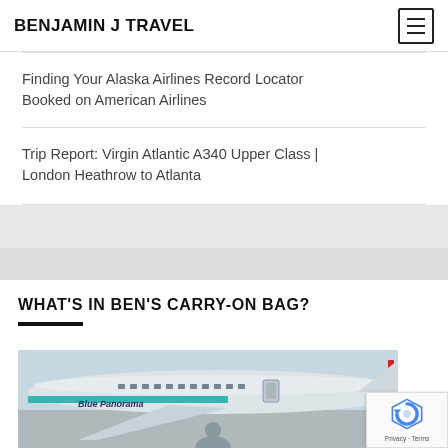BENJAMIN J TRAVEL
Finding Your Alaska Airlines Record Locator Booked on American Airlines
Trip Report: Virgin Atlantic A340 Upper Class | London Heathrow to Atlanta
WHAT'S IN BEN'S CARRY-ON BAG?
[Figure (photo): Airplane on tarmac with 'Blue Panorama' text visible on fuselage; a person stands in foreground]